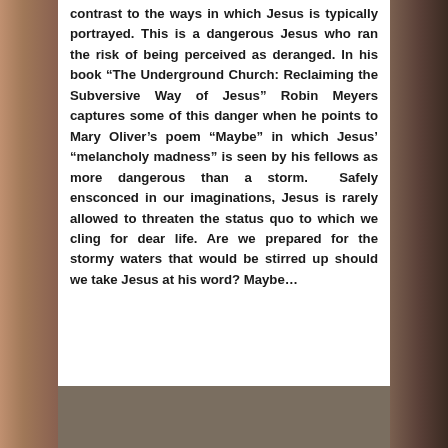contrast to the ways in which Jesus is typically portrayed. This is a dangerous Jesus who ran the risk of being perceived as deranged. In his book “The Underground Church: Reclaiming the Subversive Way of Jesus” Robin Meyers captures some of this danger when he points to Mary Oliver’s poem “Maybe” in which Jesus’ “melancholy madness” is seen by his fellows as more dangerous than a storm. Safely ensconced in our imaginations, Jesus is rarely allowed to threaten the status quo to which we cling for dear life. Are we prepared for the stormy waters that would be stirred up should we take Jesus at his word? Maybe…
[Figure (photo): Partial view of a darkened photographic image at the bottom of the page, brownish-gray tones]